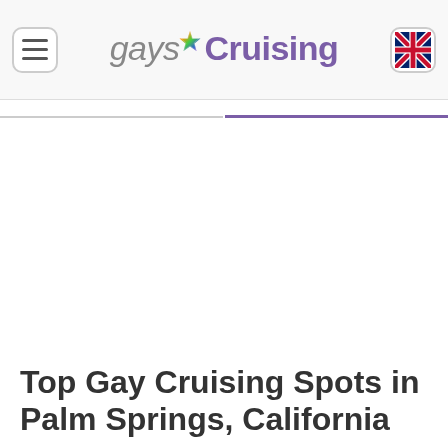gaysCruising
Top Gay Cruising Spots in Palm Springs, California